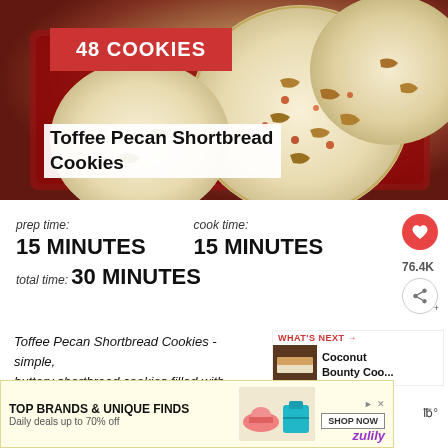[Figure (photo): Photo of Toffee Pecan Shortbread Cookies on a red baking tray, showing round pale cookies with pecan pieces on top]
Toffee Pecan Shortbread Cookies
48 COOKIES
prep time: 15 MINUTES
cook time: 15 MINUTES
total time: 30 MINUTES
Toffee Pecan Shortbread Cookies - simple, buttery shortbread cookies filled with chunks of toasted pecans and peppered with toffee bits. An ultimately d...
[Figure (photo): WHAT'S NEXT banner showing Coconut Bounty Coo... thumbnail]
[Figure (screenshot): Advertisement banner: TOP BRANDS & UNIQUE FINDS - Daily deals up to 70% off - SHOP NOW - zulily]